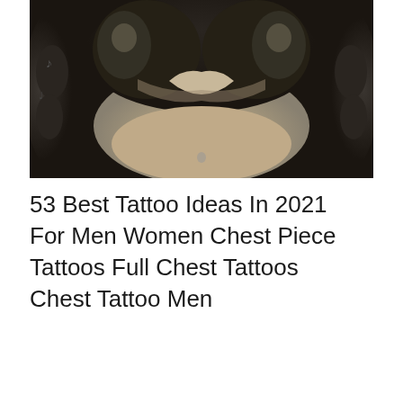[Figure (photo): Close-up photograph of a man's chest and torso covered in detailed black and grey tattoos including portraits of women, animals, and various other designs across the chest and arms]
53 Best Tattoo Ideas In 2021 For Men Women Chest Piece Tattoos Full Chest Tattoos Chest Tattoo Men